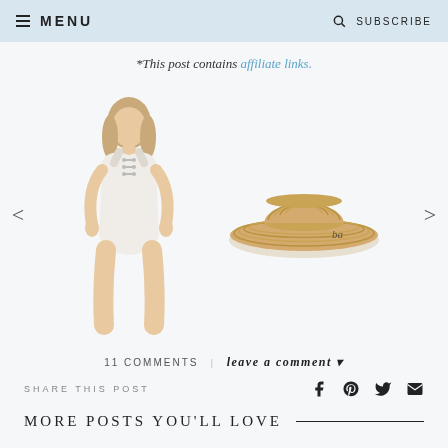MENU  SUBSCRIBE
*This post contains affiliate links.
[Figure (photo): Product carousel showing a white lace-up one-piece swimsuit worn by a model, and a wide-brim straw sun hat, with left and right navigation arrows]
11 COMMENTS  |  leave a comment ▾
SHARE THIS POST
MORE POSTS YOU'LL LOVE